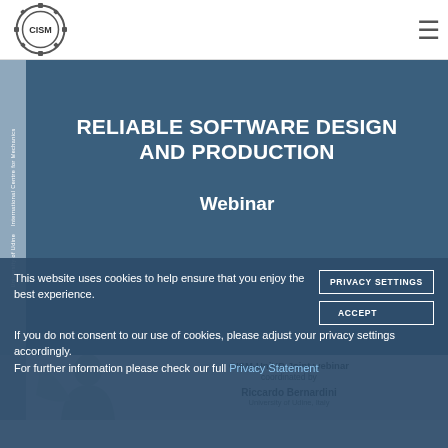[Figure (logo): CISM logo - circular gear emblem with 'CISM' text inside]
[Figure (illustration): Book cover for 'Reliable Software Design and Production' webinar by CISM-UniUD Joint webinar, coordinated by Riccardo Bernardini, University of Udine, Italy. Dark blue cover with white title text and a grey human silhouette.]
RELIABLE SOFTWARE DESIGN AND PRODUCTION
Webinar
CISM-UniUD Joint webinar coordinated by
Riccardo Bernardini
University of Udine, Italy
This website uses cookies to help ensure that you enjoy the best experience. If you do not consent to our use of cookies, please adjust your privacy settings accordingly.
For further information please check our full Privacy Statement